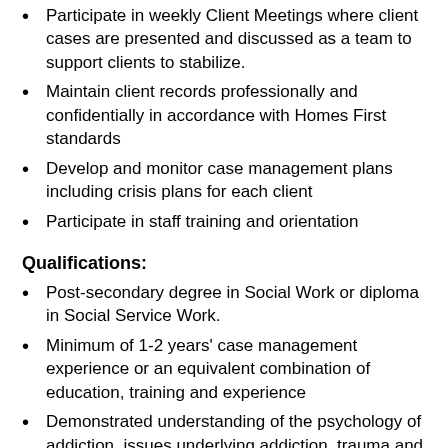Participate in weekly Client Meetings where client cases are presented and discussed as a team to support clients to stabilize.
Maintain client records professionally and confidentially in accordance with Homes First standards
Develop and monitor case management plans including crisis plans for each client
Participate in staff training and orientation
Qualifications:
Post-secondary degree in Social Work or diploma in Social Service Work.
Minimum of 1-2 years' case management experience or an equivalent combination of education, training and experience
Demonstrated understanding of the psychology of addiction, issues underlying addiction, trauma and mental health issues